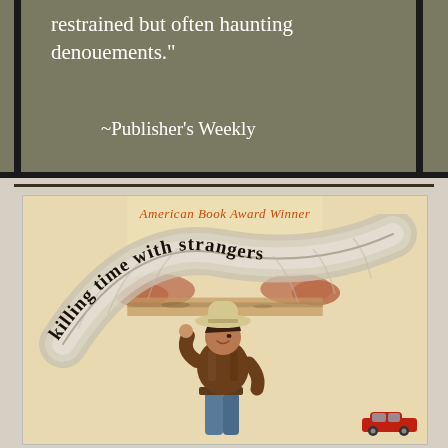restrained but often haunting denouements."
~Publisher's Weekly
[Figure (illustration): Book cover of 'killing time with strangers' — American Book Award Winner. Features a person in a cowboy hat and brown jacket hitchhiking, set against a desert landscape with mountains. A large feather/wing shape arches behind them with the book title written along its curve in bold black lettering. A small red car is visible in the lower right corner.]